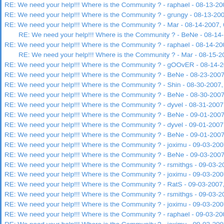RE: We need your help!!! Where is the Community ? - raphael - 08-13-200
RE: We need your help!!! Where is the Community ? - grungy - 08-13-2007
RE: We need your help!!! Where is the Community ? - Mar - 08-14-2007, 0
RE: We need your help!!! Where is the Community ? - BeNe - 08-14-200
RE: We need your help!!! Where is the Community ? - raphael - 08-14-200
RE: We need your help!!! Where is the Community ? - Mar - 08-15-2007
RE: We need your help!!! Where is the Community ? - gOOvER - 08-14-20
RE: We need your help!!! Where is the Community ? - BeNe - 08-23-2007,
RE: We need your help!!! Where is the Community ? - Shin - 08-30-2007, 0
RE: We need your help!!! Where is the Community ? - BeNe - 08-30-2007,
RE: We need your help!!! Where is the Community ? - dyvel - 08-31-2007,
RE: We need your help!!! Where is the Community ? - BeNe - 09-01-2007,
RE: We need your help!!! Where is the Community ? - dyvel - 09-01-2007,
RE: We need your help!!! Where is the Community ? - BeNe - 09-01-2007,
RE: We need your help!!! Where is the Community ? - joximu - 09-03-2007
RE: We need your help!!! Where is the Community ? - BeNe - 09-03-2007,
RE: We need your help!!! Where is the Community ? - rsmithgs - 09-03-200
RE: We need your help!!! Where is the Community ? - joximu - 09-03-2007
RE: We need your help!!! Where is the Community ? - RatS - 09-03-2007,
RE: We need your help!!! Where is the Community ? - rsmithgs - 09-03-200
RE: We need your help!!! Where is the Community ? - joximu - 09-03-2007
RE: We need your help!!! Where is the Community ? - raphael - 09-03-200
RE: We need your help!!! Where is the Community ? - joximu - 09-03-2007
RE: We need your help!!! Where is the Community ? - rsmithgs - 09-03-200
RE: We need your help!!! Where is the Community ? - raphael - 09-03-200